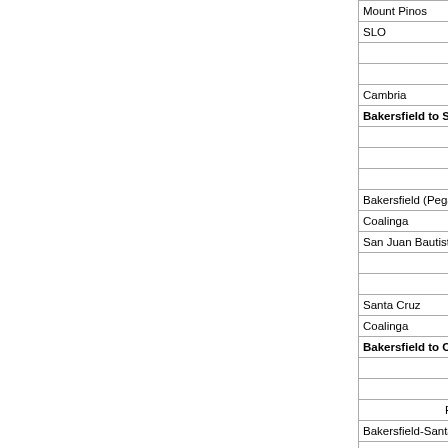| From | To |
| --- | --- |
| Mount Pinos | SLO |
| SLO | Camb |
|  |  |
|  |  |
| Cambria | Bake |
| Bakersfield to Santa Cruz via S |  |
|  |  |
|  |  |
|  |  |
| Bakersfield (Pegasus) | Coal |
| Coalinga | San J |
| San Juan Bautista | Sant |
|  |  |
|  |  |
| Santa Cruz | Coal |
| Coalinga | Bake |
| Bakersfield to Ojai and Return |  |
|  |  |
|  |  |
| From |  |
| Bakersfield-Santa Paula | Ojai |
| Ojai-Ventura | Bake |
| Bakersfield to Ridgecrest and R |  |
|  |  |
|  |  |
|  |  |
| From |  |
| Bakersfield | Ridge |
| Bakersfield | Ridge |
| Bakersfield | Ridge |
|  |  |
| Ridgecrest | Bake |
| Ridgecrest | Bake |
|  |  |